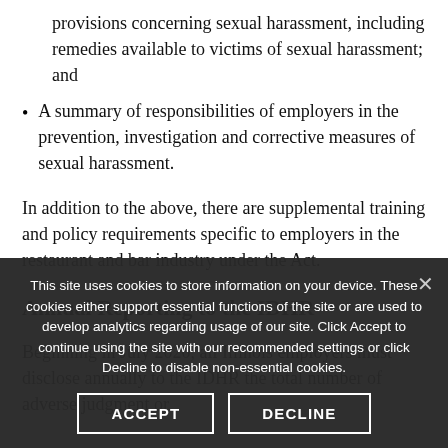remedies available to victims of sexual harassment; and
A summary of responsibilities of employers in the prevention, investigation and corrective measures of sexual harassment.
In addition to the above, there are supplemental training and policy requirements specific to employers in the restaurant and bar industry under the Act.
Annual Reporting to the IDHR
Beginning in July 2020, all Illinois employers must disclose annually to the IDHR the total number of adverse judgment or
This site uses cookies to store information on your device. These cookies either support essential functions of the site or are used to develop analytics regarding usage of our site. Click Accept to continue using the site with our recommended settings or click Decline to disable non-essential cookies.